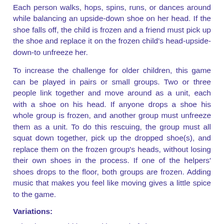Each person walks, hops, spins, runs, or dances around while balancing an upside-down shoe on her head. If the shoe falls off, the child is frozen and a friend must pick up the shoe and replace it on the frozen child's head-upside-down-to unfreeze her.
To increase the challenge for older children, this game can be played in pairs or small groups. Two or three people link together and move around as a unit, each with a shoe on his head. If anyone drops a shoe his whole group is frozen, and another group must unfreeze them as a unit. To do this rescuing, the group must all squat down together, pick up the dropped shoe(s), and replace them on the frozen group's heads, without losing their own shoes in the process. If one of the helpers' shoes drops to the floor, both groups are frozen. Adding music that makes you feel like moving gives a little spice to the game.
Variations:
Other items could be used instead of shoes.
Benefits of playing this game:
Develops children's self-regulation skills.